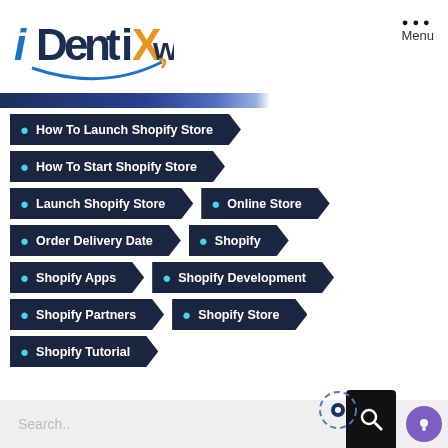[Figure (logo): iDentixweb logo with stylized text in blue, dark navy, orange colors and an arc underneath]
How To Launch Shopify Store
How To Start Shopify Store
Launch Shopify Store
Online Store
Order Delivery Date
Shopify
Shopify Apps
Shopify Development
Shopify Partners
Shopify Store
Shopify Tutorial